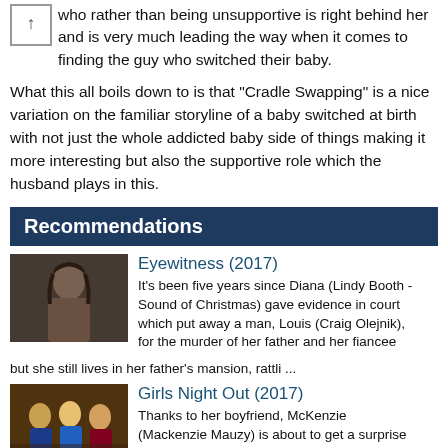who rather than being unsupportive is right behind her and is very much leading the way when it comes to finding the guy who switched their baby.
What this all boils down to is that "Cradle Swapping" is a nice variation on the familiar storyline of a baby switched at birth with not just the whole addicted baby side of things making it more interesting but also the supportive role which the husband plays in this.
Recommendations
Eyewitness (2017)
It's been five years since Diana (Lindy Booth - Sound of Christmas) gave evidence in court which put away a man, Louis (Craig Olejnik), for the murder of her father and her fiancee but she still lives in her father's mansion, rattli ...
[Figure (photo): Promotional still from Eyewitness 2017 showing a woman with dark hair]
Girls Night Out (2017)
Thanks to her boyfriend, McKenzie (Mackenzie Mauzy) is about to get a surprise bachelorette party as he has been in contact with her three college friends, who haven't been together as a group in years. But the party doesn't go as p
[Figure (photo): Promotional still from Girls Night Out 2017 showing a group of women]